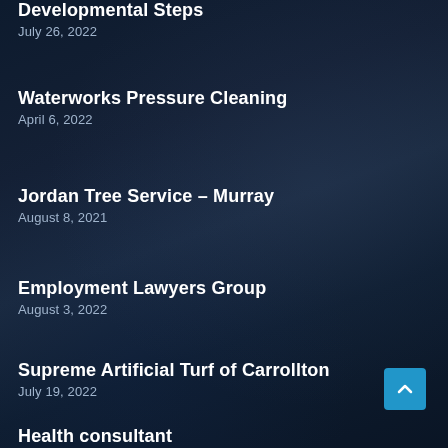Developmental Steps
July 26, 2022
Waterworks Pressure Cleaning
April 6, 2022
Jordan Tree Service – Murray
August 8, 2021
Employment Lawyers Group
August 3, 2022
Supreme Artificial Turf of Carrollton
July 19, 2022
Health consultant